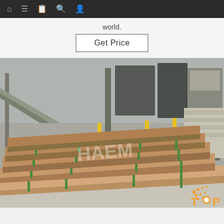Navigation bar with icons: home, menu, book, search, profile
world.
Get Price
[Figure (photo): Industrial warehouse photo showing stacks of large metal sheets (likely stainless steel) wrapped in brown paper and bound with green straps, arranged on a concrete floor. Background shows manufacturing equipment, yellow safety barriers, and industrial structures. A watermark reads 'HAEM'. An orange 'TOP' logo with dots appears in the bottom-right corner.]